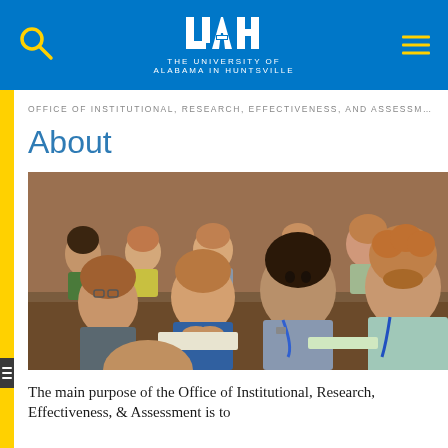THE UNIVERSITY OF ALABAMA IN HUNTSVILLE
OFFICE OF INSTITUTIONAL, RESEARCH, EFFECTIVENESS, AND ASSESSMENT
About
[Figure (photo): Students seated at a classroom table listening attentively during a lecture or orientation session. Multiple students visible, some with lanyards/name badges.]
The main purpose of the Office of Institutional, Research, Effectiveness, & Assessment is to